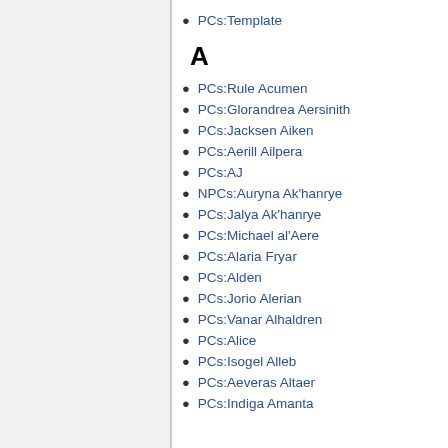PCs:Template
A
PCs:Rule Acumen
PCs:Glorandrea Aersinith
PCs:Jacksen Aiken
PCs:Aerill Ailpera
PCs:AJ
NPCs:Auryna Ak'hanrye
PCs:Jalya Ak'hanrye
PCs:Michael al'Aere
PCs:Alaria Fryar
PCs:Alden
PCs:Jorio Alerian
PCs:Vanar Alhaldren
PCs:Alice
PCs:Isogel Alleb
PCs:Aeveras Altaer
PCs:Indiga Amanta